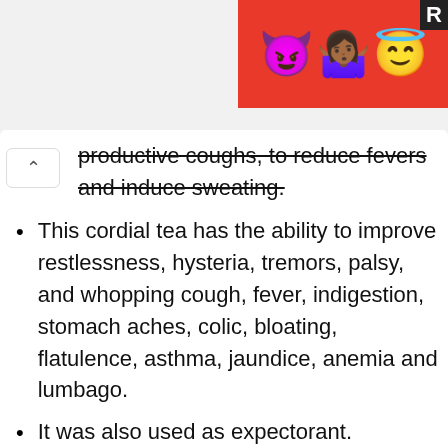[Figure (illustration): Advertisement banner with emoji characters (devil, person shrugging, halo face) on red background with letter R label]
productive coughs, to reduce fevers and induce sweating.
This cordial tea has the ability to improve restlessness, hysteria, tremors, palsy, and whopping cough, fever, indigestion, stomach aches, colic, bloating, flatulence, asthma, jaundice, anemia and lumbago.
It was also used as expectorant.
Juice of the leaves have the ability to expel tape worms, roundworms, hookworms and